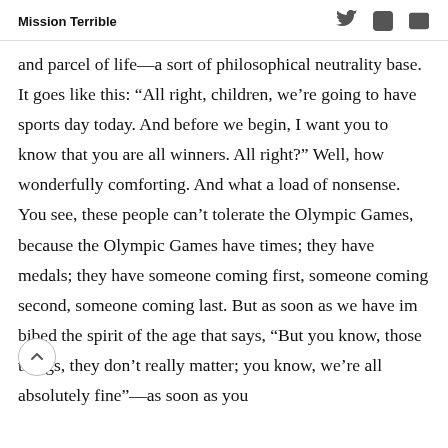Mission Terrible
and parcel of life—a sort of philosophical neutrality base. It goes like this: “All right, children, we’re going to have sports day today. And before we begin, I want you to know that you are all winners. All right?” Well, how wonderfully comforting. And what a load of nonsense. You see, these people can’t tolerate the Olympic Games, because the Olympic Games have times; they have medals; they have someone coming first, someone coming second, someone coming last. But as soon as we have imbibed the spirit of the age that says, “But you know, those things, they don’t really matter; you know, we’re all absolutely fine”—as soon as you